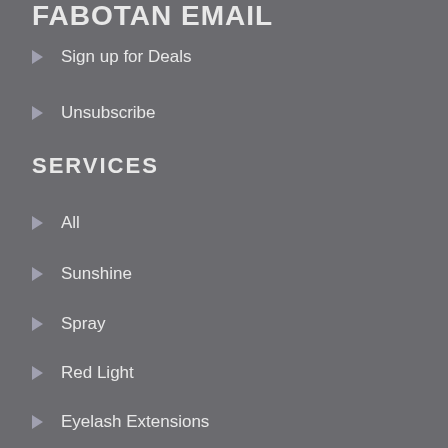FABOTAN EMAIL
Sign up for Deals
Unsubscribe
SERVICES
All
Sunshine
Spray
Red Light
Eyelash Extensions